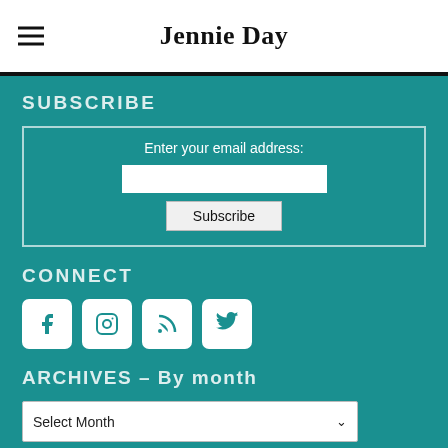Jennie Day
SUBSCRIBE
Enter your email address:
CONNECT
[Figure (illustration): Four social media icon buttons: Facebook, Instagram, RSS feed, Twitter]
ARCHIVES – By month
Select Month
By category